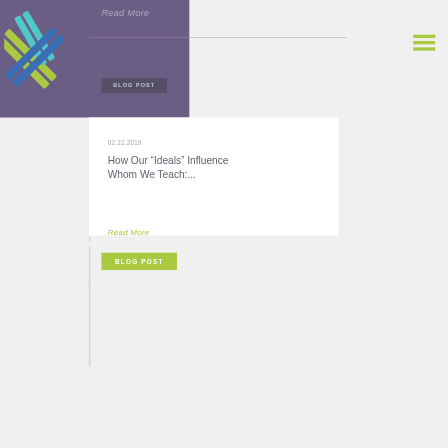[Figure (logo): Colorful X-shaped logo with green, teal, and blue diagonal stripes on purple background]
Read More
BLOG POST
02.22.2019
How Our “Ideals” Influence Whom We Teach:...
Read More
BLOG POST